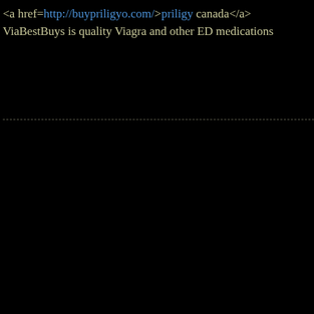<a href=http://buypriligyo.com/>priligy canada</a> ViaBestBuys is quality Viagra and other ED medications